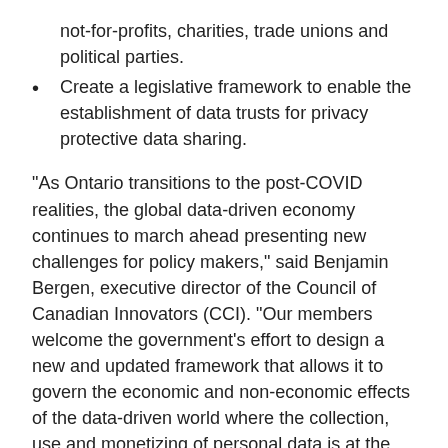not-for-profits, charities, trade unions and political parties.
Create a legislative framework to enable the establishment of data trusts for privacy protective data sharing.
“As Ontario transitions to the post-COVID realities, the global data-driven economy continues to march ahead presenting new challenges for policy makers,” said Benjamin Bergen, executive director of the Council of Canadian Innovators (CCI). “Our members welcome the government’s effort to design a new and updated framework that allows it to govern the economic and non-economic effects of the data-driven world where the collection, use and monetizing of personal data is at the centre of new business models. Privacy protections and industry growth don’t need to be at odds and we look forward to the discussions on how best to enhance fundamental personal privacy elements while